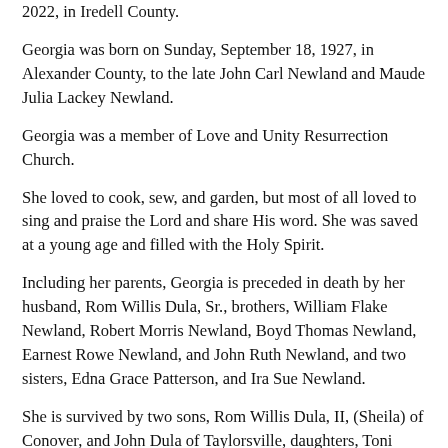2022, in Iredell County.
Georgia was born on Sunday, September 18, 1927, in Alexander County, to the late John Carl Newland and Maude Julia Lackey Newland.
Georgia was a member of Love and Unity Resurrection Church.
She loved to cook, sew, and garden, but most of all loved to sing and praise the Lord and share His word. She was saved at a young age and filled with the Holy Spirit.
Including her parents, Georgia is preceded in death by her husband, Rom Willis Dula, Sr., brothers, William Flake Newland, Robert Morris Newland, Boyd Thomas Newland, Earnest Rowe Newland, and John Ruth Newland, and two sisters, Edna Grace Patterson, and Ira Sue Newland.
She is survived by two sons, Rom Willis Dula, II, (Sheila) of Conover, and John Dula of Taylorsville, daughters, Toni Oseni, of Taylorsville and Susan Sharpe (Ralph) of Statesville, grandchildren, Jason Dula, Sam Helms, Stephanie Helms, Janie Giles (Angela), Shonda Voss (Andre), Shanay Parsons (Ashley), Carlton Sharpe and Shae Long (Ryan), thirteen great-grandchildren, and four great-great-grandchildren, sister, Dorothy